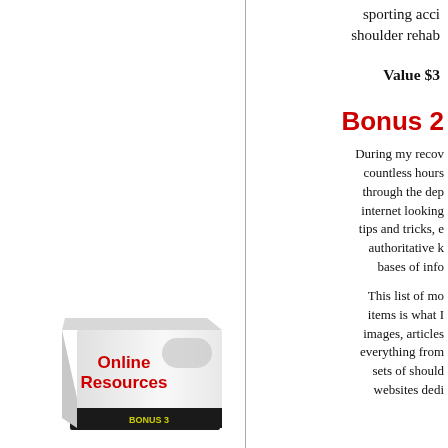sporting acci shoulder rehab
Value $3
Bonus 2
[Figure (illustration): 3D box product image labeled 'Online Resources' with red text on white box, bottom labeled BONUS 3]
During my recov countless hours through the dep internet looking tips and tricks, e authoritative k bases of info
This list of mo items is what I images, articles everything from sets of should websites dedi